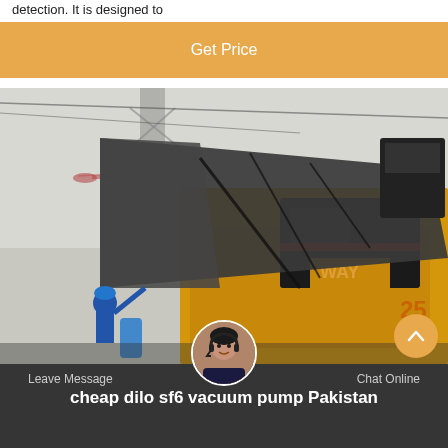detection. It is designed to
Get Price
[Figure (photo): Outdoor industrial scene showing a yellow electrical transformer or high-voltage equipment truck with a large metal canopy/hood open. A worker in a blue helmet is visible on the left side working on the equipment. Tower structures and cables visible in the background. A helicopter is faintly visible in the upper left sky.]
Leave Message
Chat Online
cheap dilo sf6 vacuum pump Pakistan